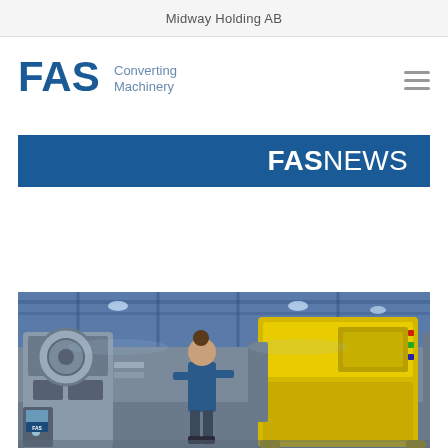Midway Holding AB
[Figure (logo): FAS Converting Machinery logo in blue and grey text]
[Figure (infographic): FAS NEWS banner — dark blue background with white text reading FASNEWS]
[Figure (photo): Factory floor photo showing a worker in blue uniform standing in front of yellow industrial converting machinery in a large industrial hall with blue structural ceiling]